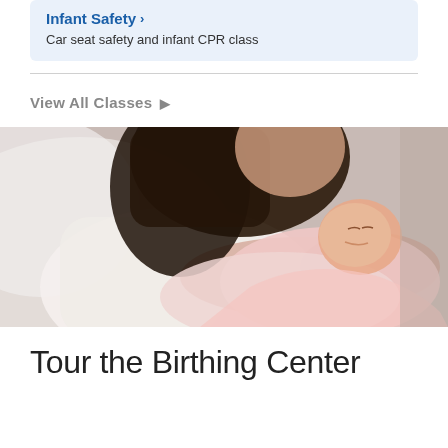Infant Safety ›
Car seat safety and infant CPR class
View All Classes ▶
[Figure (photo): A mother with dark hair in a white top holding and kissing a sleeping newborn baby wrapped in a pink blanket]
Tour the Birthing Center